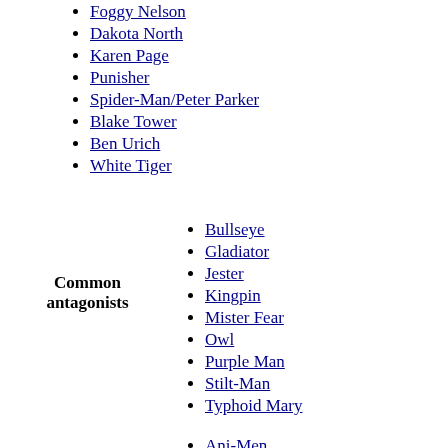Foggy Nelson
Dakota North
Karen Page
Punisher
Spider-Man/Peter Parker
Blake Tower
Ben Urich
White Tiger
Common antagonists
Bullseye
Gladiator
Jester
Kingpin
Mister Fear
Owl
Purple Man
Stilt-Man
Typhoid Mary
Group enemies
Ani-Men
Circus of Crime
Emissaries of Evil
Enforcers
Hand
Maggia